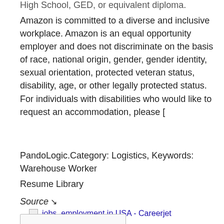High School, GED, or equivalent diploma.
Amazon is committed to a diverse and inclusive workplace. Amazon is an equal opportunity employer and does not discriminate on the basis of race, national origin, gender, gender identity, sexual orientation, protected veteran status, disability, age, or other legally protected status. For individuals with disabilities who would like to request an accommodation, please [
PandoLogic.Category: Logistics, Keywords: Warehouse Worker
Resume Library
Source ↘
jobs, employment in USA - Careerjet